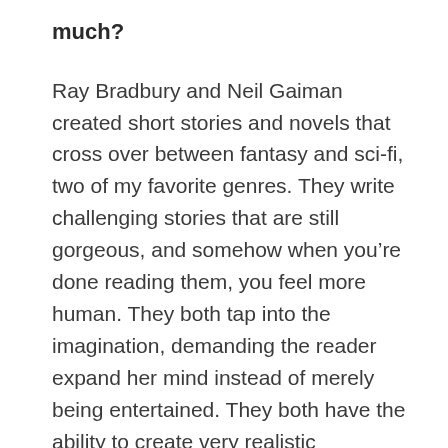much?
Ray Bradbury and Neil Gaiman created short stories and novels that cross over between fantasy and sci-fi, two of my favorite genres. They write challenging stories that are still gorgeous, and somehow when you’re done reading them, you feel more human. They both tap into the imagination, demanding the reader expand her mind instead of merely being entertained. They both have the ability to create very realistic characters even in the most futuristic or otherworldly setting. And I think the